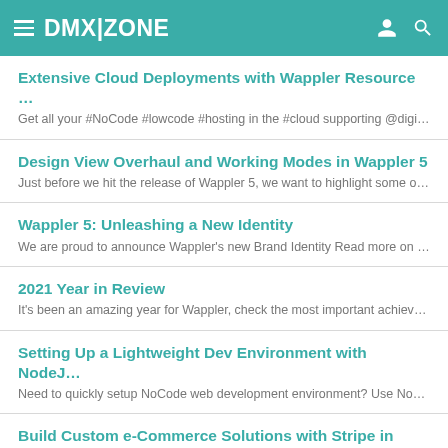DMX|ZONE
Extensive Cloud Deployments with Wappler Resource …
Get all your #NoCode #lowcode #hosting in the #cloud supporting @digitaloce…
Design View Overhaul and Working Modes in Wappler 5
Just before we hit the release of Wappler 5, we want to highlight some of the n…
Wappler 5: Unleashing a New Identity
We are proud to announce Wappler's new Brand Identity Read more on our Med…
2021 Year in Review
It's been an amazing year for Wappler, check the most important achievements…
Setting Up a Lightweight Dev Environment with NodeJ…
Need to quickly setup NoCode web development environment? Use NodeJS an…
Build Custom e-Commerce Solutions with Stripe in Wa…
Get your No-Code experience to the next level and enjoy full blown Stripe integr…
Wappler 2020 — Year in Review
A year full of innovations, cutting-edge #nocode technologies, #nodejs, #bootst…